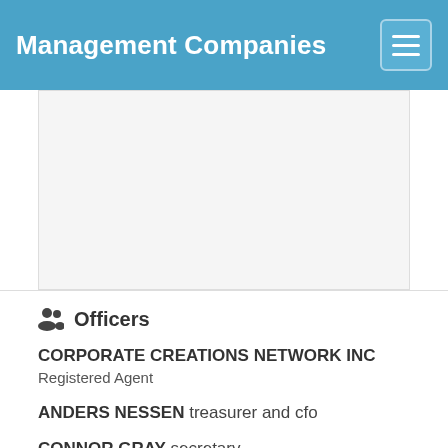Management Companies
[Figure (other): Advertisement/blank content area]
Officers
CORPORATE CREATIONS NETWORK INC
Registered Agent
ANDERS NESSEN treasurer and cfo
CONNOR GRAY secretary
JACQUES GALANTE director